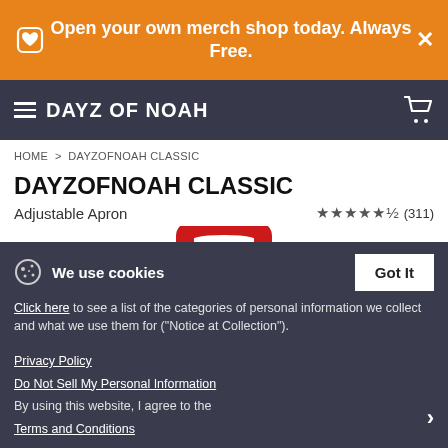Open your own merch shop today. Always Free.
DAYZ OF NOAH
HOME > DAYZOFNOAH CLASSIC
DAYZOFNOAH CLASSIC
Adjustable Apron ★★★★½ (311)
[Figure (photo): Red adjustable apron product photo on white background]
We use cookies
Click here to see a list of the categories of personal information we collect and what we use them for ("Notice at Collection").
Privacy Policy
Do Not Sell My Personal Information
By using this website, I agree to the Terms and Conditions